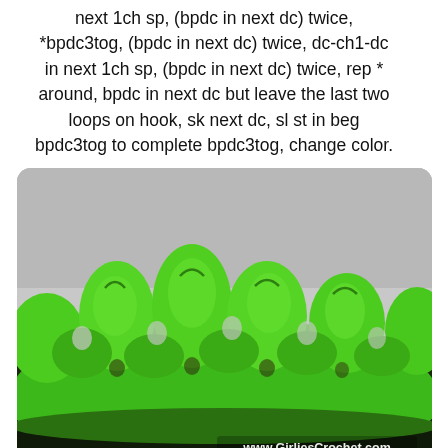next 1ch sp, (bpdc in next dc) twice, *bpdc3tog, (bpdc in next dc) twice, dc-ch1-dc in next 1ch sp, (bpdc in next dc) twice, rep * around, bpdc in next dc but leave the last two loops on hook, sk next dc, sl st in beg bpdc3tog to complete bpdc3tog, change color.
[Figure (photo): Close-up photo of bright green crochet work showing a zigzag/chevron pattern with raised back post double crochet stitches forming peaks and valleys. The crochet piece is photographed against a light grey background. A watermark reads www.GirliesCrochet.com in the bottom right corner.]